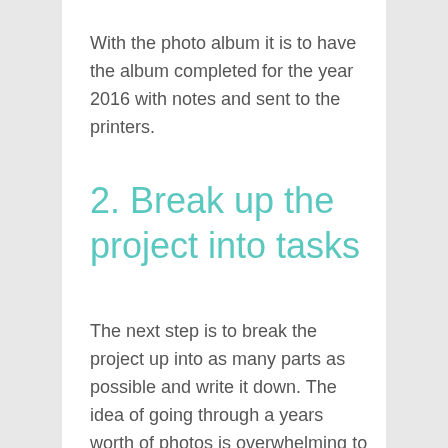With the photo album it is to have the album completed for the year 2016 with notes and sent to the printers.
2. Break up the project into tasks
The next step is to break the project up into as many parts as possible and write it down. The idea of going through a years worth of photos is overwhelming to me, hence while it is still sitting on my to do list. Each year I promise myself I will go through the photos at more regular intervals, but it doesn't